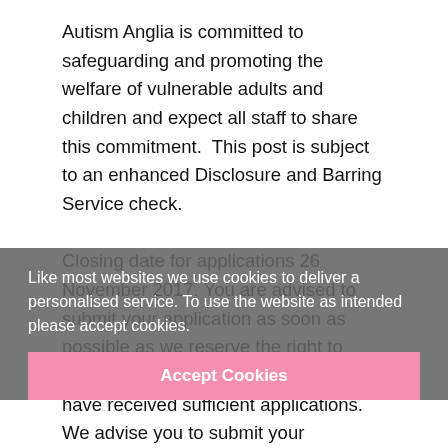Autism Anglia is committed to safeguarding and promoting the welfare of vulnerable adults and children and expect all staff to share this commitment.  This post is subject to an enhanced Disclosure and Barring Service check.

Closing date for applications 26 November 2017. You are advised to submit your application as soon as possible as we reserve the right to close posts at any time, if we feel we have received sufficient applications.  We advise you to submit your application as early as possible to prevent disappointment. If no response is received within 3 weeks of the closing date, please assume your application has been unsuccessful. You are welcome to apply again for other positions.
Like most websites we use cookies to deliver a personalised service. To use the website as intended please accept cookies.